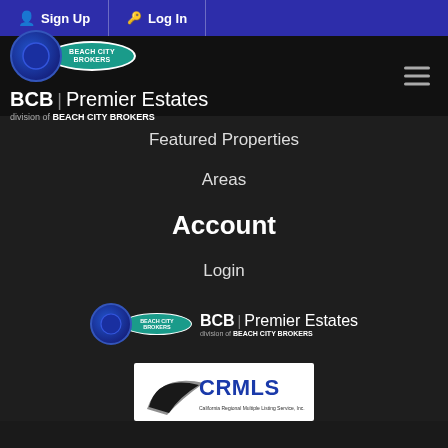Sign Up  Log In
[Figure (logo): Beach City Brokers circular logo with teal oval badge, and BCB | Premier Estates division of BEACH CITY BROKERS text]
Featured Properties
Areas
Account
Login
[Figure (logo): Beach City Brokers footer logo with BCB | Premier Estates division of BEACH CITY BROKERS]
[Figure (logo): CRMLS - California Regional Multiple Listing Service, Inc. logo]